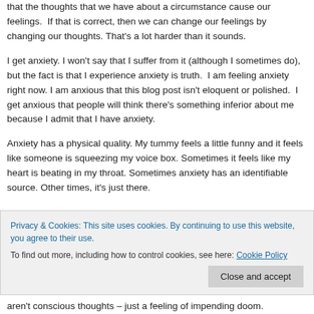that the thoughts that we have about a circumstance cause our feelings.  If that is correct, then we can change our feelings by changing our thoughts. That's a lot harder than it sounds.
I get anxiety. I won't say that I suffer from it (although I sometimes do), but the fact is that I experience anxiety is truth.  I am feeling anxiety right now. I am anxious that this blog post isn't eloquent or polished.  I get anxious that people will think there's something inferior about me because I admit that I have anxiety.
Anxiety has a physical quality. My tummy feels a little funny and it feels like someone is squeezing my voice box. Sometimes it feels like my heart is beating in my throat. Sometimes anxiety has an identifiable source. Other times, it's just there.
Privacy & Cookies: This site uses cookies. By continuing to use this website, you agree to their use.
To find out more, including how to control cookies, see here: Cookie Policy
Close and accept
aren't conscious thoughts – just a feeling of impending doom.